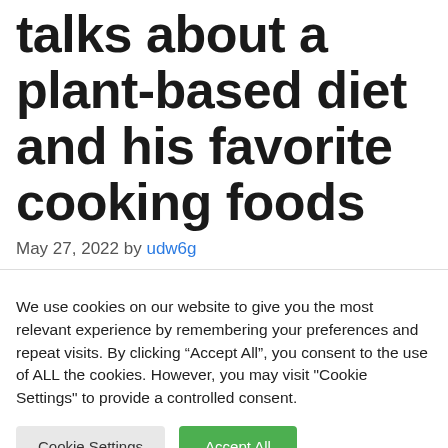talks about a plant-based diet and his favorite cooking foods
May 27, 2022 by udw6g
We use cookies on our website to give you the most relevant experience by remembering your preferences and repeat visits. By clicking “Accept All”, you consent to the use of ALL the cookies. However, you may visit "Cookie Settings" to provide a controlled consent.